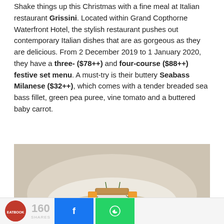Shake things up this Christmas with a fine meal at Italian restaurant Grissini. Located within Grand Copthorne Waterfront Hotel, the stylish restaurant pushes out contemporary Italian dishes that are as gorgeous as they are delicious. From 2 December 2019 to 1 January 2020, they have a three- ($78++) and four-course ($88++) festive set menu. A must-try is their buttery Seabass Milanese ($32++), which comes with a tender breaded sea bass fillet, green pea puree, vine tomato and a buttered baby carrot.
[Figure (photo): A plated dish of Seabass Milanese on a white plate with orange/yellow garnish cubes and herbs, served in a sauce, on a light background.]
160 SHARES | Facebook share button | WhatsApp share button